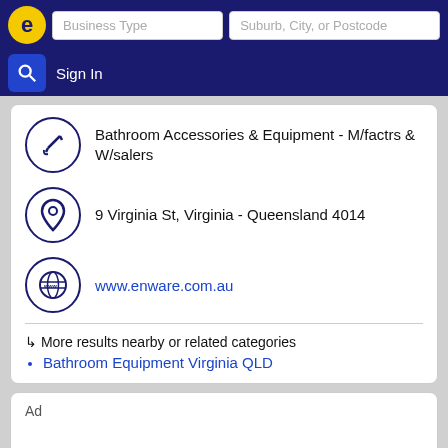e | Business Type | Suburb, City, or Postcode | Sign In
Bathroom Accessories & Equipment - M/factrs & W/salers
9 Virginia St, Virginia - Queensland 4014
www.enware.com.au
↳ More results nearby or related categories
Bathroom Equipment Virginia QLD
Ad